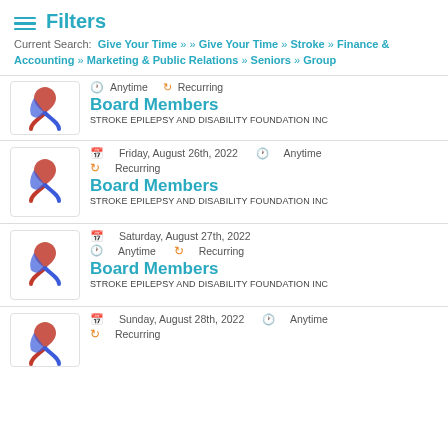Filters
Current Search: Give Your Time » » Give Your Time » Stroke » Finance & Accounting » Marketing & Public Relations » Seniors » Group
Anytime  Recurring
Board Members
STROKE EPILEPSY AND DISABILITY FOUNDATION INC
Friday, August 26th, 2022  Anytime  Recurring
Board Members
STROKE EPILEPSY AND DISABILITY FOUNDATION INC
Saturday, August 27th, 2022  Anytime  Recurring
Board Members
STROKE EPILEPSY AND DISABILITY FOUNDATION INC
Sunday, August 28th, 2022  Anytime  Recurring